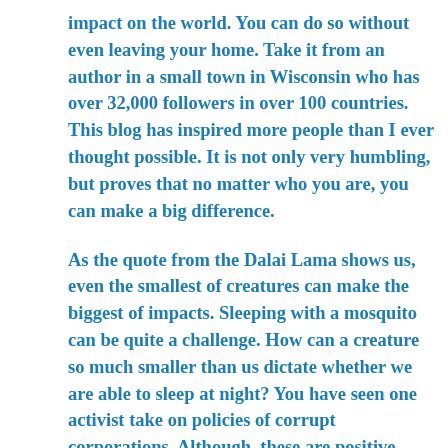impact on the world. You can do so without even leaving your home. Take it from an author in a small town in Wisconsin who has over 32,000 followers in over 100 countries. This blog has inspired more people than I ever thought possible. It is not only very humbling, but proves that no matter who you are, you can make a big difference.
As the quote from the Dalai Lama shows us, even the smallest of creatures can make the biggest of impacts. Sleeping with a mosquito can be quite a challenge. How can a creature so much smaller than us dictate whether we are able to sleep at night? You have seen one activist take on policies of corrupt corporations. Although, these are positive examples,